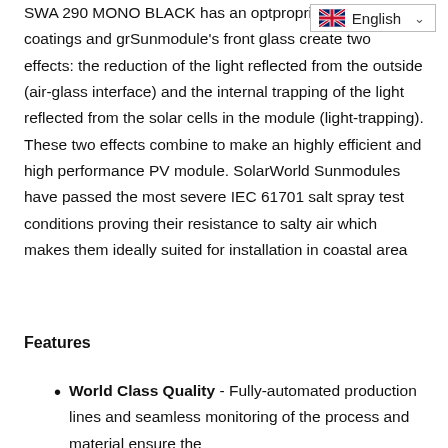SWA 290 MONO BLACK has an opt… proprietary surface coatings and gr… Sunmodule's front glass create two effects: the reduction of the light reflected from the outside (air-glass interface) and the internal trapping of the light reflected from the solar cells in the module (light-trapping). These two effects combine to make an highly efficient and high performance PV module. SolarWorld Sunmodules have passed the most severe IEC 61701 salt spray test conditions proving their resistance to salty air which makes them ideally suited for installation in coastal area
Features
World Class Quality - Fully-automated production lines and seamless monitoring of the process and material ensure the